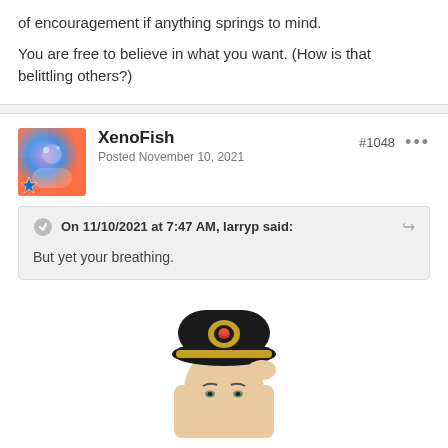of encouragement if anything springs to mind.
You are free to believe in what you want. (How is that belittling others?)
XenoFish
Posted November 10, 2021
#1048
On 11/10/2021 at 7:47 AM, larryp said:
But yet your breathing.
[Figure (photo): Man wearing black military-style cap with gold emblem and brim, adjusting cap with one hand, looking forward.]